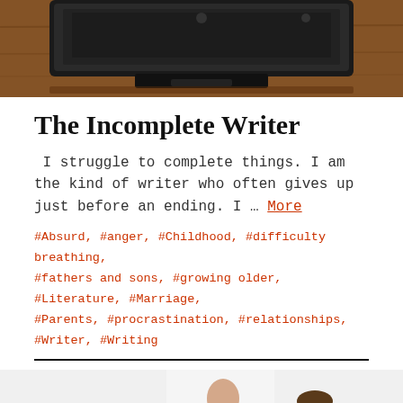[Figure (photo): Close-up photo of a laptop/typewriter on a wooden surface, viewed from above]
The Incomplete Writer
I struggle to complete things. I am the kind of writer who often gives up just before an ending. I … More
#Absurd, #anger, #Childhood, #difficulty breathing, #fathers and sons, #growing older, #Literature, #Marriage, #Parents, #procrastination, #relationships, #Writer, #Writing
[Figure (photo): Two men in white dress shirts, one wearing a blue tie, photographed from chest up against a light background]